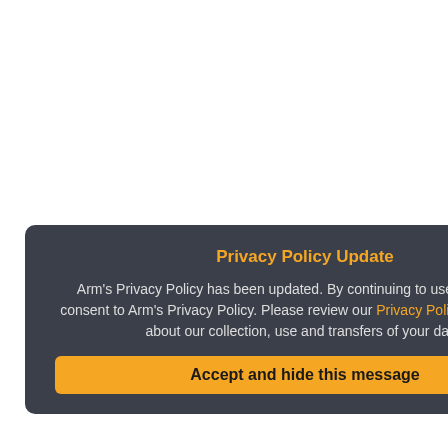Advin
MP-51
Ceibo
MP-UNIV
Ceibo
Dataman 40Pro Univ
Dataman Programmers Lt
Dataman 448Pro2 S Production Programm
Dataman Programmers Lt
Dataman 48Pro2 Su Programmer
Dataman Programmers Lt
Dataman 848Pro2 S Programmer
Dataman Programmers Lt
Dataman T51Pro MC Programmer
Dataman Programmers Lt
Privacy Policy Update
Arm's Privacy Policy has been updated. By continuing to use our site, you consent to Arm's Privacy Policy. Please review our Privacy Policy to learn more about our collection, use and transfers of your data.
Accept and hide this message
Important information
This site uses cookies to store information on your computer. By continuing to use our site, you consent to our cookies.
Don't show this message again
Change Settings